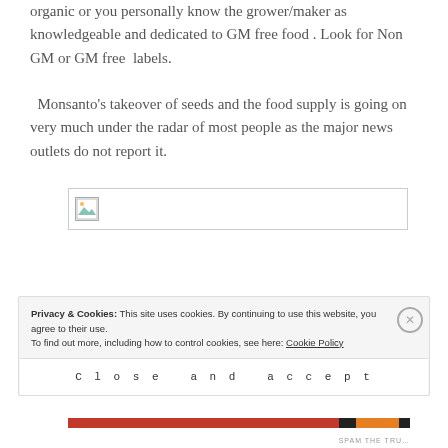organic or you personally know the grower/maker as knowledgeable and dedicated to GM free food . Look for Non GM or GM free labels.
  Monsanto’s takeover of seeds and the food supply is going on very much under the radar of most people as the major news outlets do not report it.
[Figure (photo): Broken image placeholder with small icon in top-left corner]
Privacy & Cookies: This site uses cookies. By continuing to use this website, you agree to their use.
To find out more, including how to control cookies, see here: Cookie Policy
Close and accept